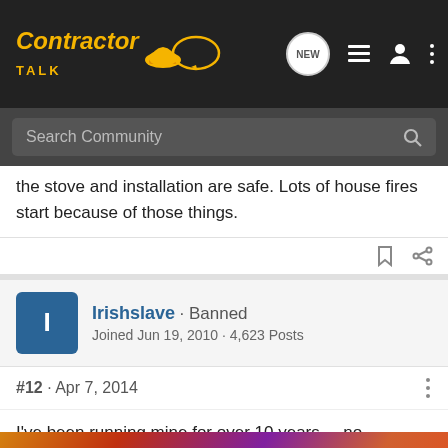Contractor Talk - NEW
Search Community
the stove and installation are safe. Lots of house fires start because of those things.
Irishslave · Banned
Joined Jun 19, 2010 · 4,623 Posts
#12 · Apr 7, 2014
I've been running mine for over 10 years.....no problemo .....just clean th burn wet, gre